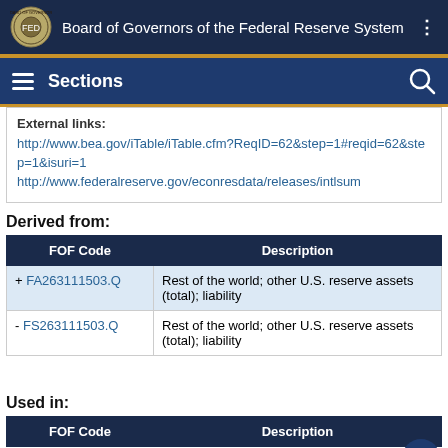Board of Governors of the Federal Reserve System
Sections
External links:
http://www.bea.gov/iTable/iTable.cfm?ReqID=62&step=1#reqid=62&step=1&isuri=1
http://www.federalreserve.gov/econresdata/releases/intlsum
Derived from:
| FOF Code | Description |
| --- | --- |
| + FA263111503.Q | Rest of the world; other U.S. reserve assets (total); liability |
| - FS263111503.Q | Rest of the world; other U.S. reserve assets (total); liability |
Used in:
| FOF Code | Description |
| --- | --- |